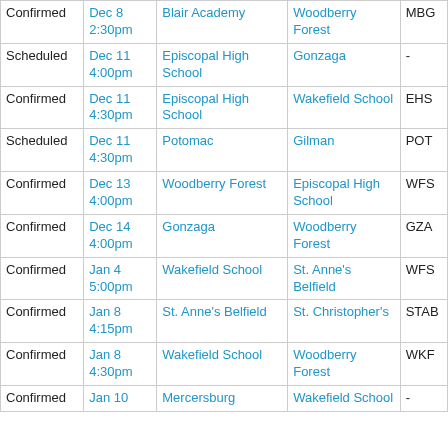| Status | Date/Time | Home | Away | Code |
| --- | --- | --- | --- | --- |
| Confirmed | Dec 8
2:30pm | Blair Academy | Woodberry Forest | MBG |
| Scheduled | Dec 11
4:00pm | Episcopal High School | Gonzaga | - |
| Confirmed | Dec 11
4:30pm | Episcopal High School | Wakefield School | EHS |
| Scheduled | Dec 11
4:30pm | Potomac | Gilman | POT |
| Confirmed | Dec 13
4:00pm | Woodberry Forest | Episcopal High School | WFS |
| Confirmed | Dec 14
4:00pm | Gonzaga | Woodberry Forest | GZA |
| Confirmed | Jan 4
5:00pm | Wakefield School | St. Anne's Belfield | WFS |
| Confirmed | Jan 8
4:15pm | St. Anne's Belfield | St. Christopher's | STAB |
| Confirmed | Jan 8
4:30pm | Wakefield School | Woodberry Forest | WKF |
| Confirmed | Jan 10 | Mercersburg | Wakefield School | - |